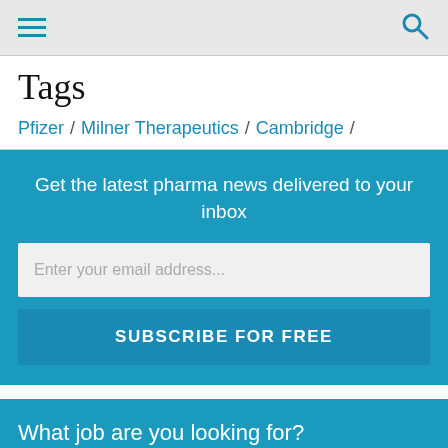≡  🔍
Tags
Pfizer / Milner Therapeutics / Cambridge /
Get the latest pharma news delivered to your inbox
Enter your email address...
SUBSCRIBE FOR FREE
What job are you looking for?